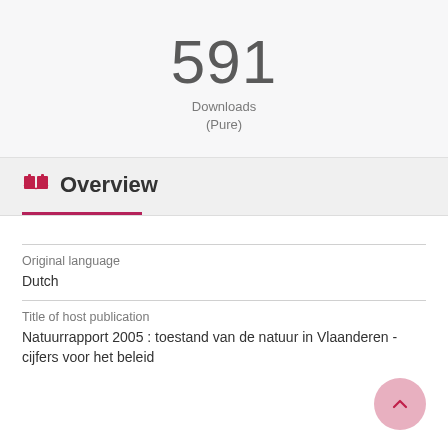591
Downloads
(Pure)
Overview
| Field | Value |
| --- | --- |
| Original language | Dutch |
| Title of host publication | Natuurrapport 2005 : toestand van de natuur in Vlaanderen - cijfers voor het beleid |